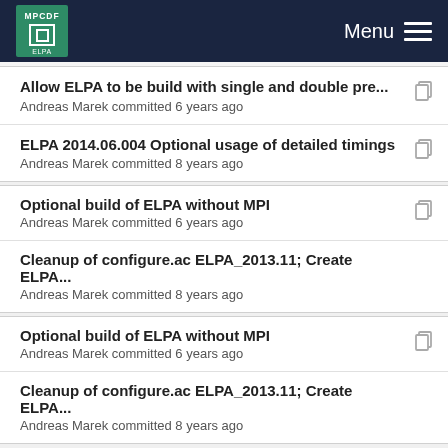MPCDF Menu
Allow ELPA to be build with single and double pre...
Andreas Marek committed 6 years ago
ELPA 2014.06.004 Optional usage of detailed timings
Andreas Marek committed 8 years ago
Optional build of ELPA without MPI
Andreas Marek committed 6 years ago
Cleanup of configure.ac ELPA_2013.11; Create ELPA...
Andreas Marek committed 8 years ago
Optional build of ELPA without MPI
Andreas Marek committed 6 years ago
Cleanup of configure.ac ELPA_2013.11; Create ELPA...
Andreas Marek committed 8 years ago